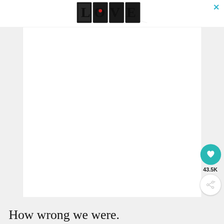[Figure (illustration): LOVE text logo in black and white illustrative style with decorative letter art]
[Figure (screenshot): Large white content panel area in gray-framed layout (article/blog content area)]
[Figure (infographic): Teal circular heart/like button with count 43.5K below it, and a share button circle below that]
How wrong we were.
[Figure (illustration): Bottom advertisement banner with dark background, rainbow illustration, and #ViralKindness text in white and green]